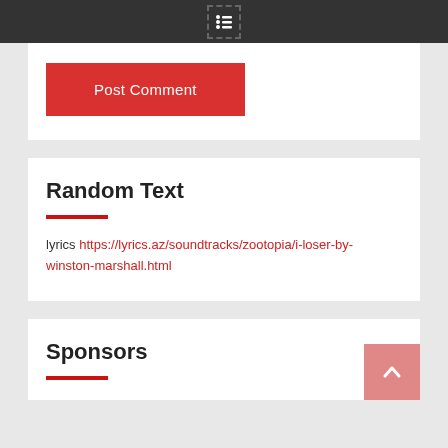[Figure (screenshot): Post Comment button, red background with white text]
Random Text
lyrics https://lyrics.az/soundtracks/zootopia/i-loser-by-winston-marshall.html
Sponsors